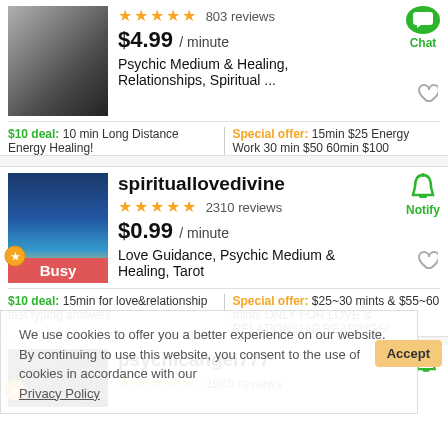[Figure (screenshot): App listing screenshot showing psychic reading services marketplace with listings, ratings, prices, and cookie consent overlay]
803 reviews
$4.99 / minute
Psychic Medium & Healing, Relationships, Spiritual ...
$10 deal: 10 min Long Distance Energy Healing!
Special offer: 15min $25 Energy Work 30 min $50 60min $100
spirituallovedivine
2310 reviews
$0.99 / minute
Love Guidance, Psychic Medium & Healing, Tarot
$10 deal: 15min for love&relationship fast typing answers
Special offer: $25~30 mints & $55~60 mints ONLY FOR LOVE & RELATIONSHIP READINGS!
psychicangel777
1985 reviews
We use cookies to offer you a better experience on our website. By continuing to use this website, you consent to the use of cookies in accordance with our Privacy Policy